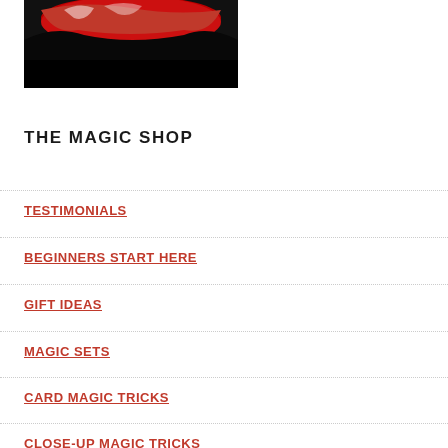[Figure (photo): Partial view of a magic shop logo/image — dark background with red dramatic brushstroke or swoosh at the top, black scene below]
THE MAGIC SHOP
TESTIMONIALS
BEGINNERS START HERE
GIFT IDEAS
MAGIC SETS
CARD MAGIC TRICKS
CLOSE-UP MAGIC TRICKS